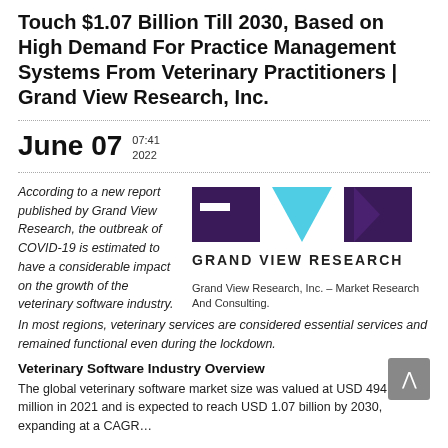Touch $1.07 Billion Till 2030, Based on High Demand For Practice Management Systems From Veterinary Practitioners | Grand View Research, Inc.
June 07   07:41 2022
According to a new report published by Grand View Research, the outbreak of COVID-19 is estimated to have a considerable impact on the growth of the veterinary software industry. In most regions, veterinary services are considered essential services and remained functional even during the lockdown.
[Figure (logo): Grand View Research logo with purple and cyan geometric shapes and bold text 'GRAND VIEW RESEARCH']
Grand View Research, Inc. – Market Research And Consulting.
Veterinary Software Industry Overview
The global veterinary software market size was valued at USD 494.0 million in 2021 and is expected to reach USD 1.07 billion by 2030, expanding at a CAGR...